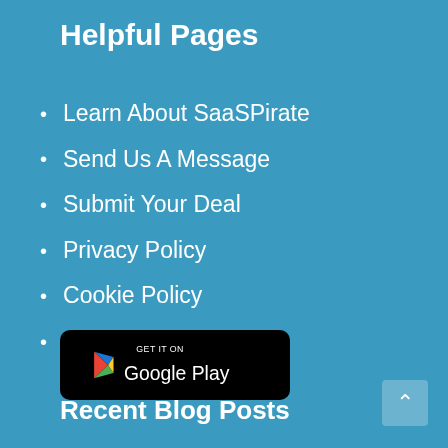Helpful Pages
Learn About SaaSPirate
Send Us A Message
Submit Your Deal
Privacy Policy
Cookie Policy
Affiliate Disclosure
[Figure (logo): Google Play store badge with black background, Google Play triangle logo icon in multicolor, text 'GET IT ON' above 'Google Play']
Recent Blog Posts